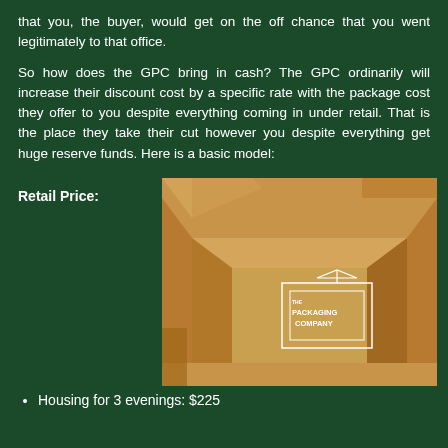that you, the buyer, would get on the off chance that you went legitimately to that office.
So how does the GPC bring in cash? The GPC ordinarily will increase their discount cost by a specific rate with the package cost they offer to you despite everything coming in under retail. That is the place they take their cut however you despite everything get huge reserve funds. Here is a basic model:
Retail Price:
[Figure (photo): An open cardboard box with 'The Packaging Company' logo printed in white on the inside bottom, with other cardboard boxes in the background.]
Housing for 3 evenings: $225